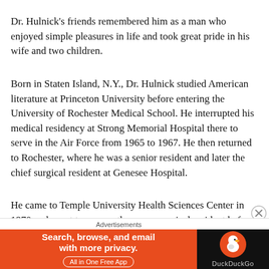Dr. Hulnick's friends remembered him as a man who enjoyed simple pleasures in life and took great pride in his wife and two children.
Born in Staten Island, N.Y., Dr. Hulnick studied American literature at Princeton University before entering the University of Rochester Medical School. He interrupted his medical residency at Strong Memorial Hospital there to serve in the Air Force from 1965 to 1967. He then returned to Rochester, where he was a senior resident and later the chief surgical resident at Genesee Hospital.
He came to Temple University Health Sciences Center in 1970 and spent two years there as a surgical resident before joining the medical staff at St. Christopher's. In
[Figure (other): Advertisement banner for DuckDuckGo app: orange background with text 'Search, browse, and email with more privacy. All in One Free App' and DuckDuckGo logo on dark background.]